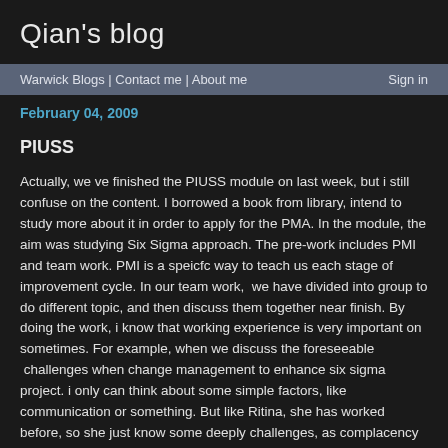Qian's blog
Warwick Blogs | Contact me | About me    Sign in
February 04, 2009
PIUSS
Actually, we ve finished the PIUSS module on last week, but i still confuse on the content. I borrowed a book from library, intend to study more about it in order to apply for the PMA. In the module, the aim was studying Six Sigma approach. The pre-work includes PMI and team work. PMI is a speicfc way to teach us each stage of improvement cycle. In our team work,  we have divided into group to do different topic, and then discuss them together near finish. By doing the work, i know that working experience is very important on sometimes. For example, when we discuss the foreseeable  challenges when change management to enhance six sigma project. i only can think about some simple factors, like communication or something. But like Ritina, she has worked before, so she just know some deeply challenges, as complacency or ignoring the new process. and Louis mentioned grant exceptions. Any way, every one in the group did a good job. In the hand-on exercise,our cooperation to building an small-scale plan had a good productivity. we had a big improvement from the first time to the final implementation. During the process, we have dicussed the common variation and specific variation, and then find out the solution to reduce the variation. Also the rational work arrangement is a key factor to improve the